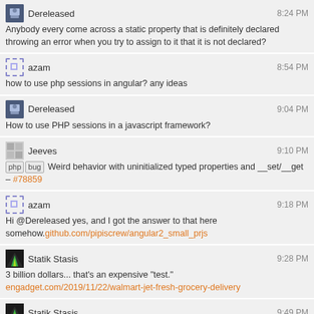Dereleased 8:24 PM — Anybody every come across a static property that is definitely declared throwing an error when you try to assign to it that it is not declared?
azam 8:54 PM — how to use php sessions in angular? any ideas
Dereleased 9:04 PM — How to use PHP sessions in a javascript framework?
Jeeves 9:10 PM — [php] [bug] Weird behavior with uninitialized typed properties and __set/__get – #78859
azam 9:18 PM — Hi @Dereleased yes, and I got the answer to that here somehow. github.com/pipiscrew/angular2_small_prjs
Statik Stasis 9:28 PM — 3 billion dollars... that's an expensive "test." engadget.com/2019/11/22/walmart-jet-fresh-grocery-delivery
Statik Stasis 9:49 PM — .youtube.com/watch?v=OX31kZbAXsA&feature=youtu.be
← prev day | next day → | last day »
join this room